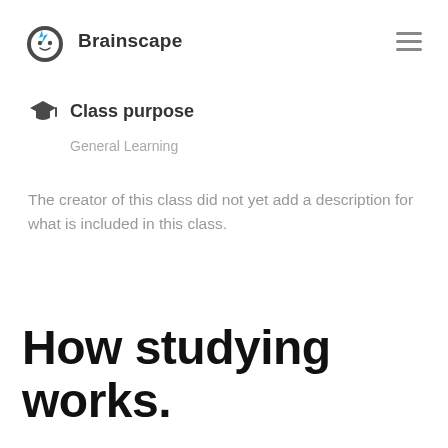Brainscape
Class purpose
General Learning
The creator of this class did not yet add a description for what is included in this class.
How studying works.